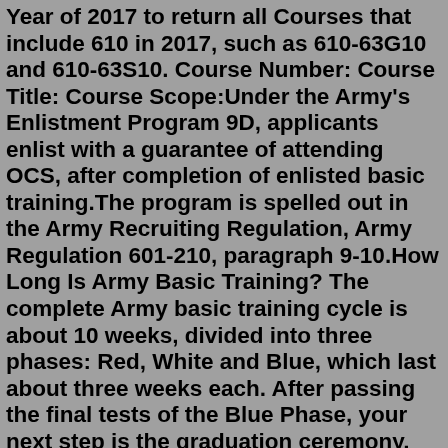Year of 2017 to return all Courses that include 610 in 2017, such as 610-63G10 and 610-63S10. Course Number: Course Title: Course Scope:Under the Army's Enlistment Program 9D, applicants enlist with a guarantee of attending OCS, after completion of enlisted basic training.The program is spelled out in the Army Recruiting Regulation, Army Regulation 601-210, paragraph 9-10.How Long Is Army Basic Training? The complete Army basic training cycle is about 10 weeks, divided into three phases: Red, White and Blue, which last about three weeks each. After passing the final tests of the Blue Phase, your next step is the graduation ceremony, where you'll get to celebrate your accomplishments with your friends and family.3-11 IN, Army Officer Candidate School - Federal OCS. 1,609 likes · 10 talking about this · 224 were here. 3rd Battalion, 11th Infantry Regiment (OCS) trains, educates, branches and commissions...New Book. Home. Bldg 1306 - E Co. Barracks circa 01 AUG 97. Modified 12/05/15 22:15 CST Headquarters U.S. Army Armor School. Officer